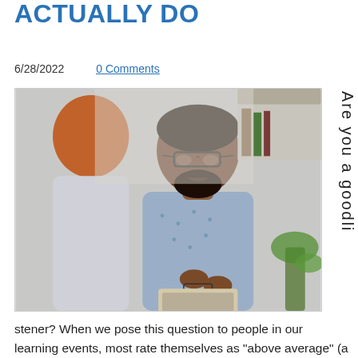ACTUALLY DO
6/28/2022    0 Comments
[Figure (photo): Two people in a conversation: a man with glasses and a patterned shirt holding glasses in his hands, speaking across from a woman with red hair seen from behind. A laptop is visible on the desk. Office/counseling setting.]
Are you a good listener?
stener? When we pose this question to people in our learning events, most rate themselves as "above average" (a mathematical impossibility). When we ask